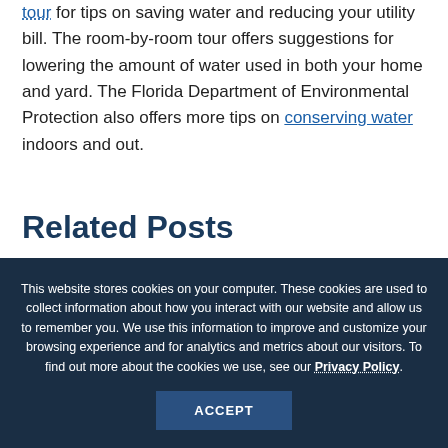tour for tips on saving water and reducing your utility bill. The room-by-room tour offers suggestions for lowering the amount of water used in both your home and yard. The Florida Department of Environmental Protection also offers more tips on conserving water indoors and out.
Related Posts
[Figure (photo): Partially visible related posts image strip with warm brown/orange tones]
This website stores cookies on your computer. These cookies are used to collect information about how you interact with our website and allow us to remember you. We use this information to improve and customize your browsing experience and for analytics and metrics about our visitors. To find out more about the cookies we use, see our Privacy Policy.